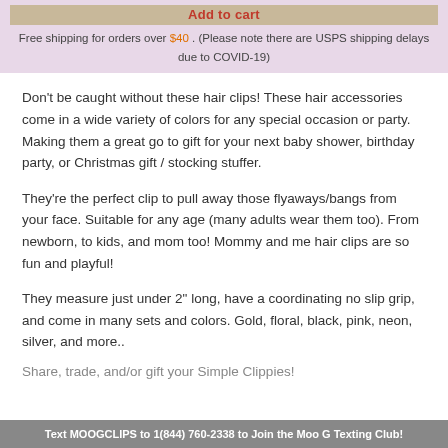Add to cart
Free shipping for orders over $40. (Please note there are USPS shipping delays due to COVID-19)
Don't be caught without these hair clips! These hair accessories come in a wide variety of colors for any special occasion or party. Making them a great go to gift for your next baby shower, birthday party, or Christmas gift / stocking stuffer.
They're the perfect clip to pull away those flyaways/bangs from your face. Suitable for any age (many adults wear them too). From newborn, to kids, and mom too! Mommy and me hair clips are so fun and playful!
They measure just under 2" long, have a coordinating no slip grip, and come in many sets and colors. Gold, floral, black, pink, neon, silver, and more..
Share, trade, and/or gift your Simple Clippies!
Text MOOGCLIPS to 1(844) 760-2338 to Join the Moo G Texting Club!